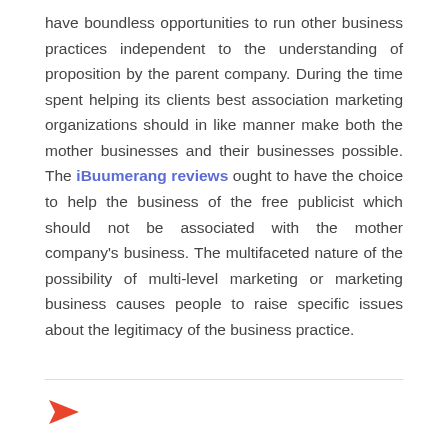have boundless opportunities to run other business practices independent to the understanding of proposition by the parent company. During the time spent helping its clients best association marketing organizations should in like manner make both the mother businesses and their businesses possible. The iBuumerang reviews ought to have the choice to help the business of the free publicist which should not be associated with the mother company's business. The multifaceted nature of the possibility of multi-level marketing or marketing business causes people to raise specific issues about the legitimacy of the business practice.